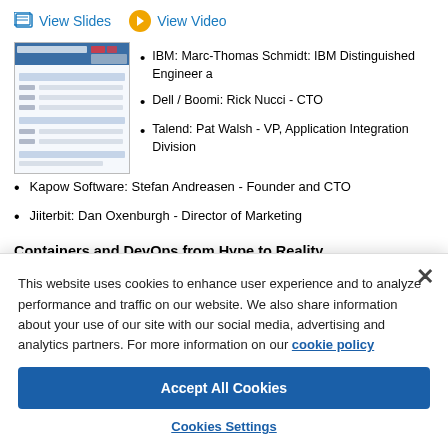View Slides  View Video
[Figure (screenshot): Thumbnail screenshot of a conference agenda slide with IBM cloud branding]
IBM: Marc-Thomas Schmidt: IBM Distinguished Engineer a
Dell / Boomi: Rick Nucci - CTO
Talend: Pat Walsh - VP, Application Integration Division
Kapow Software: Stefan Andreasen - Founder and CTO
Jiiterbit: Dan Oxenburgh - Director of Marketing
Containers and DevOps from Hype to Reality
This website uses cookies to enhance user experience and to analyze performance and traffic on our website. We also share information about your use of our site with our social media, advertising and analytics partners. For more information on our cookie policy
Accept All Cookies
Cookies Settings